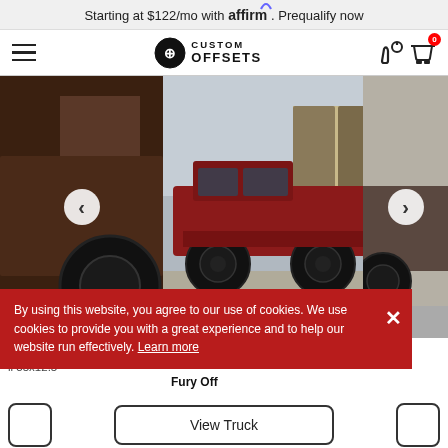Starting at $122/mo with affirm. Prequalify now
[Figure (logo): Custom Offsets logo with hamburger menu icon, phone and cart icons in navigation bar]
[Figure (photo): Three-photo carousel showing a lifted 1996 Chevrolet truck with black wheels on a gravel driveway. Center photo shows dark red/maroon Chevy pickup lifted with large black Gear Off-Road wheels. Left partial photo shows rear wheel/tire. Right partial photo shows another lifted dark truck.]
44
ll 35x12.5
1996 Che
Gear Off
Fury Off
By using this website, you agree to our use of cookies. We use cookies to provide you with a great experience and to help our website run effectively. Learn more
View Truck